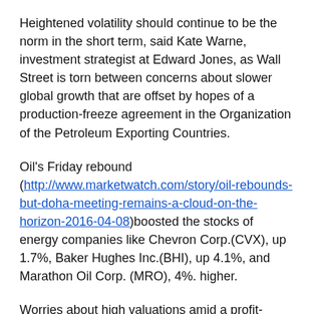Heightened volatility should continue to be the norm in the short term, said Kate Warne, investment strategist at Edward Jones, as Wall Street is torn between concerns about slower global growth that are offset by hopes of a production-freeze agreement in the Organization of the Petroleum Exporting Countries.
Oil's Friday rebound (http://www.marketwatch.com/story/oil-rebounds-but-doha-meeting-remains-a-cloud-on-the-horizon-2016-04-08)boosted the stocks of energy companies like Chevron Corp.(CVX), up 1.7%, Baker Hughes Inc.(BHI), up 4.1%, and Marathon Oil Corp. (MRO), 4%. higher.
Worries about high valuations amid a profit-margin squeeze were the main culprit behind Gap's slide, after the retailer late Thursday said sales fell in March (http://www.marketwatch.com/story/gap-reports-drop-in-march-sales-high-inventory-2016-04-07). Victoria Secret owner L Brands(LB), Under Armour Inc.(UA) and Coach, Inc